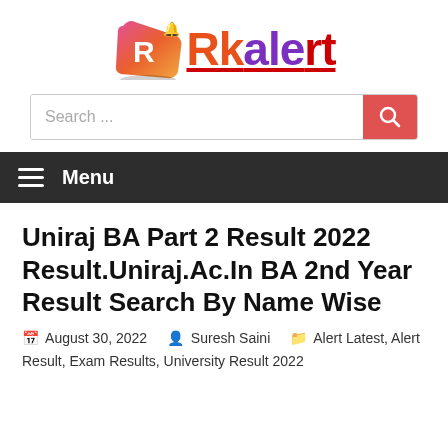[Figure (logo): Rkalert website logo with colorful R icon and text Rkalert in purple and red with underline and bell icon]
Search ...
Menu
Uniraj BA Part 2 Result 2022 Result.Uniraj.Ac.In BA 2nd Year Result Search By Name Wise
August 30, 2022   Suresh Saini   Alert Latest, Alert Result, Exam Results, University Result 2022